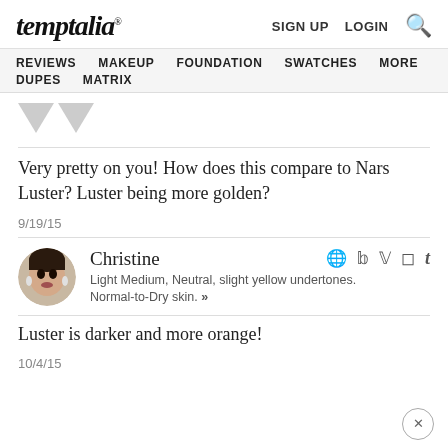temptalia® | SIGN UP  LOGIN  🔍
REVIEWS  MAKEUP  FOUNDATION  SWATCHES  MORE  DUPES  MATRIX
Very pretty on you! How does this compare to Nars Luster? Luster being more golden?
9/19/15
Christine
Light Medium, Neutral, slight yellow undertones. Normal-to-Dry skin. »
Luster is darker and more orange!
10/4/15